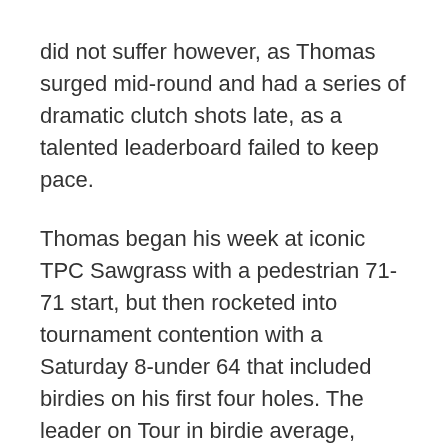did not suffer however, as Thomas surged mid-round and had a series of dramatic clutch shots late, as a talented leaderboard failed to keep pace.
Thomas began his week at iconic TPC Sawgrass with a pedestrian 71-71 start, but then rocketed into tournament contention with a Saturday 8-under 64 that included birdies on his first four holes. The leader on Tour in birdie average, Thomas has a penchant for getting hot. At 10-under through 54 holes, he held a share of third place, three strokes back of Westwood, who has struggled to close in big events.